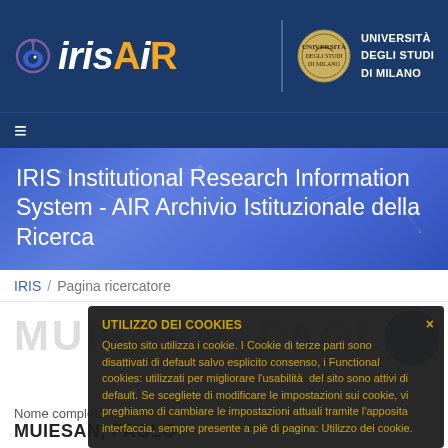[Figure (logo): IRIS AIR logo with eye icon on dark blue header bar]
[Figure (logo): Università degli Studi di Milano seal and text logo]
☰
IRIS Institutional Research Information System - AIR Archivio Istituzionale della Ricerca
IRIS / Pagina ricercatore
MUIESAN, PAOLO
UTILIZZO DEI COOKIES
Questo sito utilizza i cookie. I Cookie di terze parti sono disattivati di default salvo esplicito consenso, i Functional cookies: utilizzati per migliorare l'usabilità del sito sono attivi di default. Se scegliete di modificare le impostazioni sui cookie, vi preghiamo di cambiare le impostazioni attuali tramite l'apposita interfaccia, sempre presente a piè di pagina: Utilizzo dei cookie.
Nome completo
MUIESAN, PAOLO